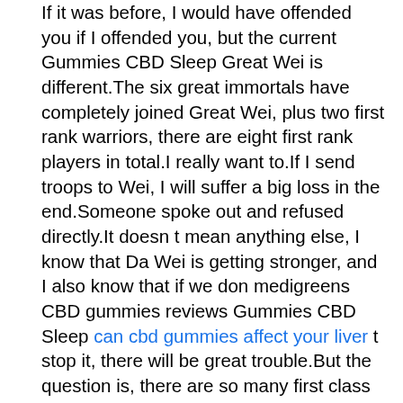If it was before, I would have offended you if I offended you, but the current Gummies CBD Sleep Great Wei is different.The six great immortals have completely joined Great Wei, plus two first rank warriors, there are eight first rank players in total.I really want to.If I send troops to Wei, I will suffer a big loss in the end.Someone spoke out and refused directly.It doesn t mean anything else, I know that Da Wei is getting stronger, and I also know that if we don medigreens CBD gummies reviews Gummies CBD Sleep can cbd gummies affect your liver t stop it, there will be great trouble.But the question is, there are so many first class products, how do you get them These Yipins join the Great Wei, serve the Great Wei, let them go to the battlefield, and they will not attack the city, the reason is very simple, Yipin should not interfere boulder highlands CBD gummies scam Gummies CBD Sleep in ordinary things.Moreover, even if they can intervene, they will weigh many things, so Yipin will not participate in the war.
For Dawei, every sale is a tax.But here comes the question, who builds chief cbd gummies the road and builds the road Let the people pay for the roads themselves With this consciousness, the